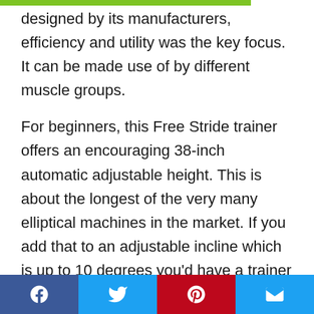designed by its manufacturers, efficiency and utility was the key focus. It can be made use of by different muscle groups.

For beginners, this Free Stride trainer offers an encouraging 38-inch automatic adjustable height. This is about the longest of the very many elliptical machines in the market. If you add that to an adjustable incline which is up to 10 degrees you'd have a trainer that is designed to act on the lower body and provide an optimal cardiovascular workout. To adjust the 0-10 degree incline range, all you need do is use the OneTouch control to adjust its stride angle and muscle group with a single touch.
Facebook | Twitter | Pinterest | Email